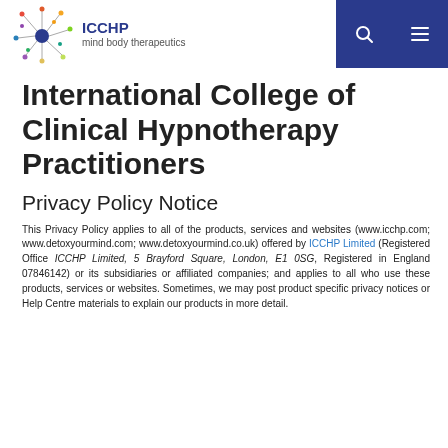ICCHP mind body therapeutics
International College of Clinical Hypnotherapy Practitioners
Privacy Policy Notice
This Privacy Policy applies to all of the products, services and websites (www.icchp.com; www.detoxyourmind.com; www.detoxyourmind.co.uk) offered by ICCHP Limited (Registered Office ICCHP Limited, 5 Brayford Square, London, E1 0SG, Registered in England 07846142) or its subsidiaries or affiliated companies; and applies to all who use these products, services or websites. Sometimes, we may post product specific privacy notices or Help Centre materials to explain our products in more detail.